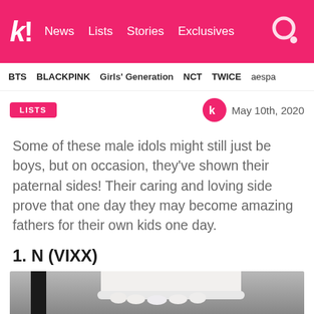k! News Lists Stories Exclusives
BTS BLACKPINK Girls' Generation NCT TWICE aespa
LISTS  May 10th, 2020
Some of these male idols might still just be boys, but on occasion, they've shown their paternal sides! Their caring and loving side prove that one day they may become amazing fathers for their own kids one day.
1. N (VIXX)
[Figure (photo): Photo of N from VIXX, showing a figure with white ruffled fabric at top and dark background with dark hair visible at bottom]